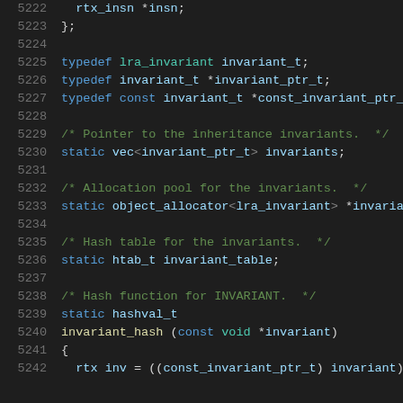Code listing lines 5222-5242: C++ source code showing struct closing, typedefs for lra_invariant, and static member declarations including invariants vector, object_allocator, htab_t invariant_table, and invariant_hash function definition.